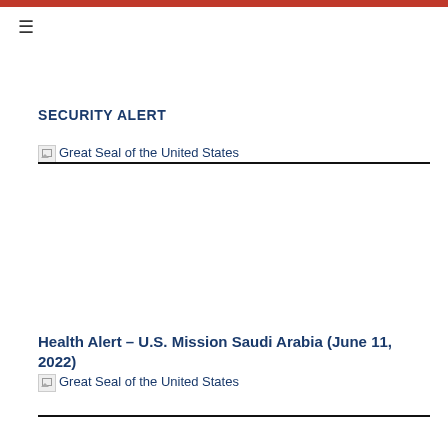≡
SECURITY ALERT
[Figure (logo): Broken image placeholder for Great Seal of the United States with link text]
[Figure (logo): Broken image placeholder for Great Seal of the United States with link text (second instance)]
Health Alert – U.S. Mission Saudi Arabia (June 11, 2022)